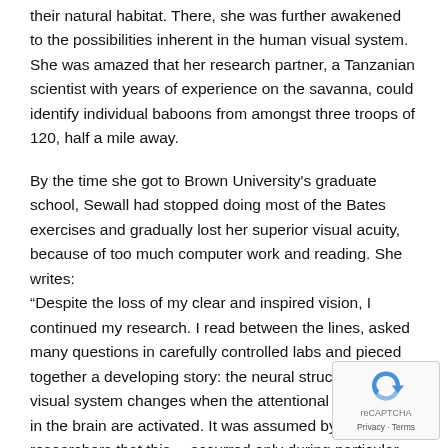their natural habitat. There, she was further awakened to the possibilities inherent in the human visual system. She was amazed that her research partner, a Tanzanian scientist with years of experience on the savanna, could identify individual baboons from amongst three troops of 120, half a mile away.
By the time she got to Brown University's graduate school, Sewall had stopped doing most of the Bates exercises and gradually lost her superior visual acuity, because of too much computer work and reading. She writes: “Despite the loss of my clear and inspired vision, I continued my research. I read between the lines, asked many questions in carefully controlled labs and pieced together a developing story: the neural structure of the visual system changes when the attentional processes in the brain are activated. It was assumed by researchers that this… occurred only during particular developmental stages in young animals. Among visual scientists, the discussion of such fundamental change in the visual capacity of adult animals was apparently heretical.